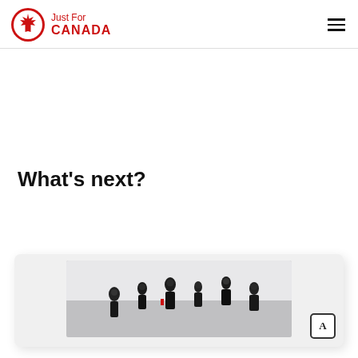Just For CANADA
What's next?
[Figure (photo): A card element showing a crowd of people walking, partially visible at the bottom of the page. An accessibility icon button is visible in the lower right of the card.]